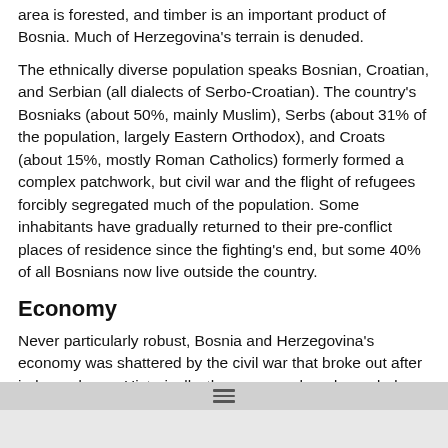area is forested, and timber is an important product of Bosnia. Much of Herzegovina's terrain is denuded.
The ethnically diverse population speaks Bosnian, Croatian, and Serbian (all dialects of Serbo-Croatian). The country's Bosniaks (about 50%, mainly Muslim), Serbs (about 31% of the population, largely Eastern Orthodox), and Croats (about 15%, mostly Roman Catholics) formerly formed a complex patchwork, but civil war and the flight of refugees forcibly segregated much of the population. Some inhabitants have gradually returned to their pre-conflict places of residence since the fighting's end, but some 40% of all Bosnians now live outside the country.
Economy
Never particularly robust, Bosnia and Herzegovina's economy was shattered by the civil war that broke out after independence. Historically, the economy has depended on agriculture, although it now provides less than half of the country's food needs. Wheat, corn, oats, and barley are the principal products of Bosnia and tobacco, cotton, fruits, and grapes of Herzegovina. Livestock is also raised. Mining is important, and there are significant deposits of lignite, iron ore, bauxite, copper, lead, zinc, manganese, and other minerals. Vehicle and aircraft assembly, oil refining,